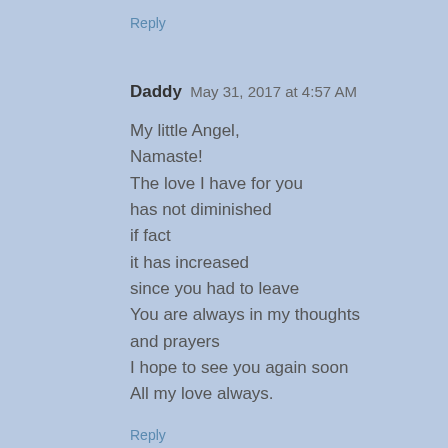Reply
Daddy  May 31, 2017 at 4:57 AM
My little Angel,
Namaste!
The love I have for you
has not diminished
if fact
it has increased
since you had to leave
You are always in my thoughts
and prayers
I hope to see you again soon
All my love always.
Reply
Daddy  June 1, 2017 at 5:26 AM
My dearest Pickles,
Not a day goes by